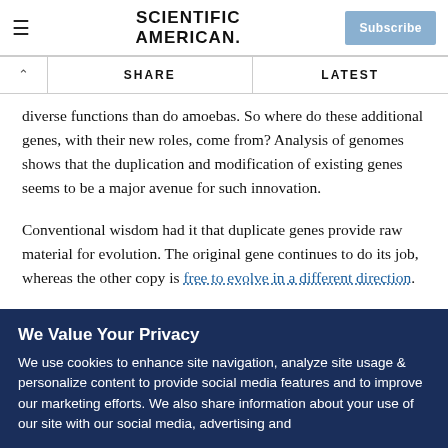Scientific American — Subscribe
diverse functions than do amoebas. So where do these additional genes, with their new roles, come from? Analysis of genomes shows that the duplication and modification of existing genes seems to be a major avenue for such innovation.
Conventional wisdom had it that duplicate genes provide raw material for evolution. The original gene continues to do its job, whereas the other copy is free to evolve in a different direction.
We Value Your Privacy
We use cookies to enhance site navigation, analyze site usage & personalize content to provide social media features and to improve our marketing efforts. We also share information about your use of our site with our social media, advertising and